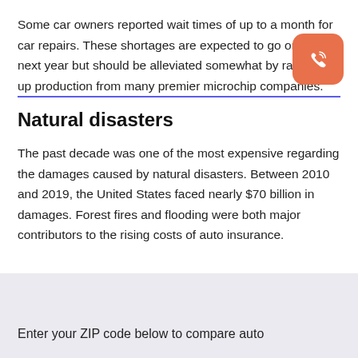Some car owners reported wait times of up to a month for car repairs. These shortages are expected to go on into next year but should be alleviated somewhat by ramped up production from many premier microchip companies.
Natural disasters
The past decade was one of the most expensive regarding the damages caused by natural disasters. Between 2010 and 2019, the United States faced nearly $70 billion in damages. Forest fires and flooding were both major contributors to the rising costs of auto insurance.
Enter your ZIP code below to compare auto